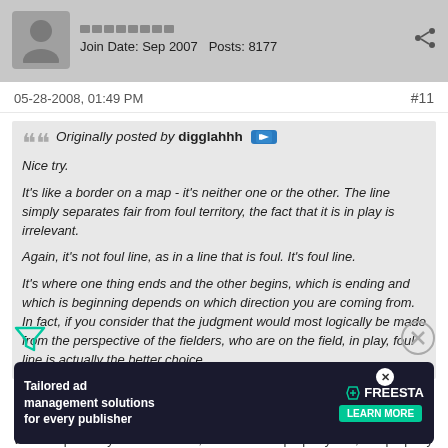Join Date: Sep 2007  Posts: 8177
05-28-2008, 01:49 PM
#11
Originally posted by digglahhh
Nice try.

It's like a border on a map - it's neither one or the other. The line simply separates fair from foul territory, the fact that it is in play is irrelevant.

Again, it's not foul line, as in a line that is foul. It's foul line.

It's where one thing ends and the other begins, which is ending and which is beginning depends on which direction you are coming from. In fact, if you consider that the judgment would most logically be made from the perspective of the fielders, who are on the field, in play, foul line is actually the better choice.
I think it's impossible to tell which side of the line anyone can say the wall is on property X side or property Y side, a wall is on property line which is probably the most clear, it is 100% on property line, is it property X's wall, or property Y's wall?
[Figure (other): Advertisement banner: Tailored ad management solutions for every publisher - FREESTA LEARN MORE]